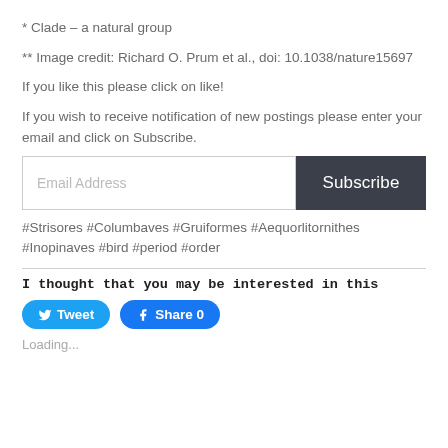* Clade – a natural group
** Image credit: Richard O. Prum et al., doi: 10.1038/nature15697
If you like this please click on like!
If you wish to receive notification of new postings please enter your email and click on Subscribe.
#Strisores #Columbaves #Gruiformes #Aequorlitornithes #Inopinaves #bird #period #order
I thought that you may be interested in this
Tweet
Share 0
Loading...